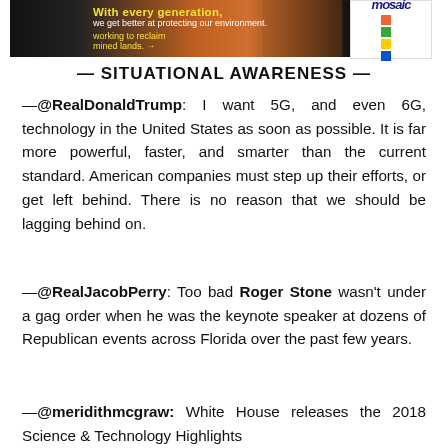[Figure (other): Banner advertisement image with text 'With every generation, we get better at protecting our environment' and a Mosaic logo with colorful blocks]
— SITUATIONAL AWARENESS —
—@RealDonaldTrump: I want 5G, and even 6G, technology in the United States as soon as possible. It is far more powerful, faster, and smarter than the current standard. American companies must step up their efforts, or get left behind. There is no reason that we should be lagging behind on.
—@RealJacobPerry: Too bad Roger Stone wasn't under a gag order when he was the keynote speaker at dozens of Republican events across Florida over the past few years.
—@meridithmcgraw: White House releases the 2018 Science & Technology Highlights